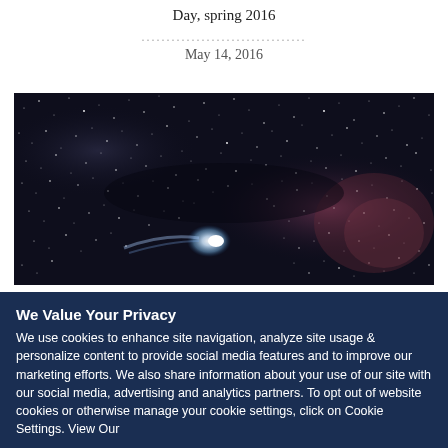Day, spring 2016
May 14, 2016
[Figure (photo): Astronomical photo showing a starfield with a bright comet or celestial object visible against a dark nebula background with dense stars]
We Value Your Privacy
We use cookies to enhance site navigation, analyze site usage & personalize content to provide social media features and to improve our marketing efforts. We also share information about your use of our site with our social media, advertising and analytics partners. To opt out of website cookies or otherwise manage your cookie settings, click on Cookie Settings. View Our